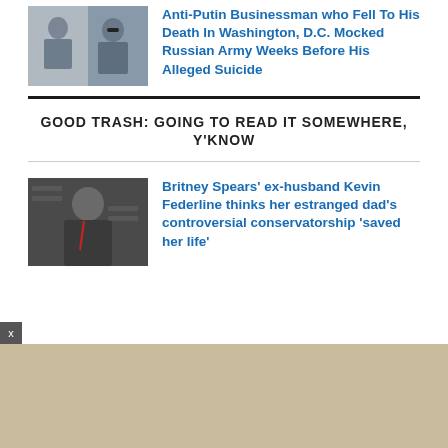[Figure (photo): Two men photo collage – older man in suit and younger man in sunglasses]
Anti-Putin Businessman who Fell To His Death In Washington, D.C. Mocked Russian Army Weeks Before His Alleged Suicide
GOOD TRASH: GOING TO READ IT SOMEWHERE, Y'KNOW
[Figure (photo): Man in black outfit at Craig Harvey event]
Britney Spears' ex-husband Kevin Federline thinks her estranged dad's controversial conservatorship 'saved her life'